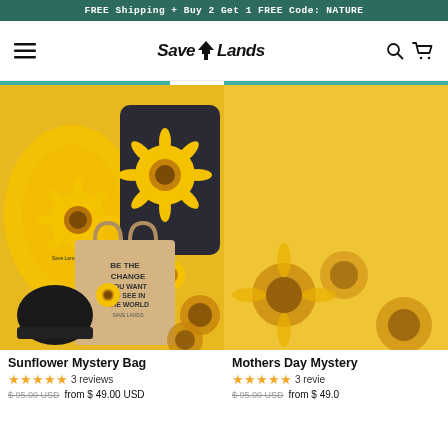FREE Shipping + Buy 2 Get 1 FREE Code: NATURE
[Figure (logo): Save Lands logo with tree icon in navigation bar]
[Figure (photo): Sunflower Mystery Bag product photo showing sunflower-themed t-shirts, tote bag with 'Be The Change You Want To See In The World' text, beanie, and accessories on yellow background]
Sunflower Mystery Bag
3 reviews
$ 95.00 USD  from $ 49.00 USD
[Figure (photo): Mothers Day Mystery Bag product photo - partially visible, sunflower themed]
Mothers Day Mystery
3 revie
$ 95.00 USD  from $ 49.0